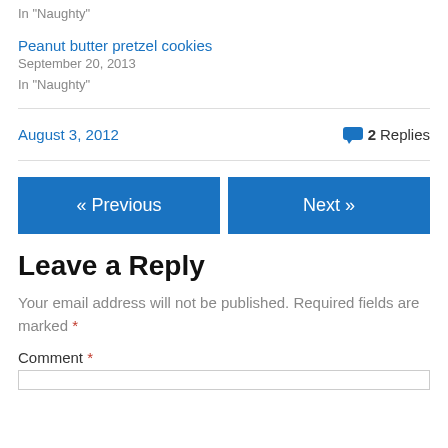In "Naughty"
Peanut butter pretzel cookies
September 20, 2013
In "Naughty"
August 3, 2012   2 Replies
« Previous   Next »
Leave a Reply
Your email address will not be published. Required fields are marked *
Comment *